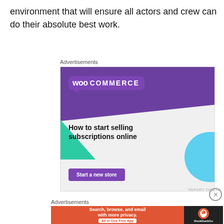environment that will ensure all actors and crew can do their absolute best work.
Advertisements
[Figure (illustration): WooCommerce advertisement banner: purple header with WooCommerce logo, teal triangle, blue quarter-circle, text 'How to start selling subscriptions online', and a purple 'Start a new store' button]
REPORT THIS AD
Advertisements
[Figure (illustration): DuckDuckGo advertisement banner: orange section with text 'Search, browse, and email with more privacy. All in One Free App' and dark section with DuckDuckGo logo]